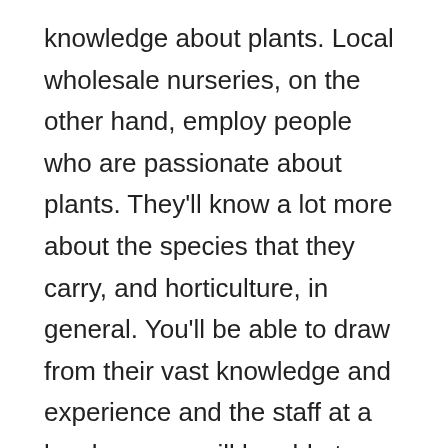knowledge about plants. Local wholesale nurseries, on the other hand, employ people who are passionate about plants. They'll know a lot more about the species that they carry, and horticulture, in general. You'll be able to draw from their vast knowledge and experience and the staff at a local nursery will be able to help you make the best choices for your Shelter Island, NY landscaping project.
More Services
Typically, big garden suppliers only sell plants,